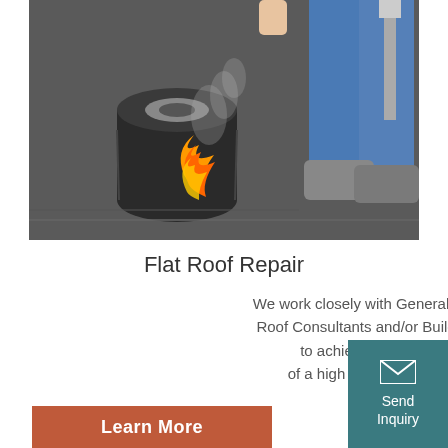[Figure (photo): A worker applying torch-down roofing membrane on a flat roof. A rolled-up bitumen membrane is being heated with a torch, showing visible orange flames. The worker is wearing boots and blue work pants, holding a tool. Smoke rises from the application.]
Flat Roof Repair
We work closely with General Contractors, Roof Consultants and/or Building Owners to achieve the common goal of a high quality re-roof application.
[Figure (other): Teal-colored Send Inquiry button with envelope icon]
Learn More